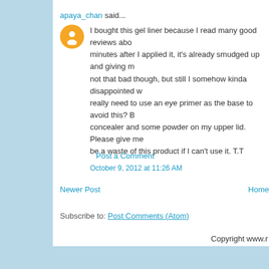apaya_chan said...
I bought this gel liner because I read many good reviews abo... minutes after I applied it, it's already smudged up and giving m... not that bad though, but still I somehow kinda disappointed w... really need to use an eye primer as the base to avoid this? B... concealer and some powder on my upper lid. Please give me... be a waste of this product if I can't use it. T.T
October 9, 2012 at 11:26 AM
Post a Comment
Newer Post
Home
Subscribe to: Post Comments (Atom)
Copyright www.r